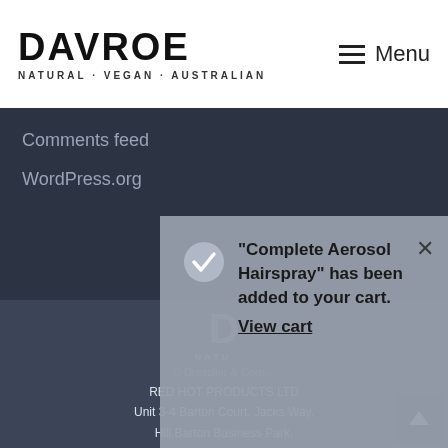DAVROE · NATURAL · VEGAN · AUSTRALIAN
Comments feed
WordPress.org
[Figure (screenshot): Popup notification: "Complete Aerosol Hairspray" has been added to your cart. View cart]
DAVROE · NATURAL · VEGAN · AUSTRALIAN · © Dresslier & Com… · RED HOT PRODUCTS LTD · Unit 3-4 Barton Court, Jacks Way, Hill Barton Business Park, Exeter, EX5 1FG · Company No. 6831515, VAT No. 946 7891 13